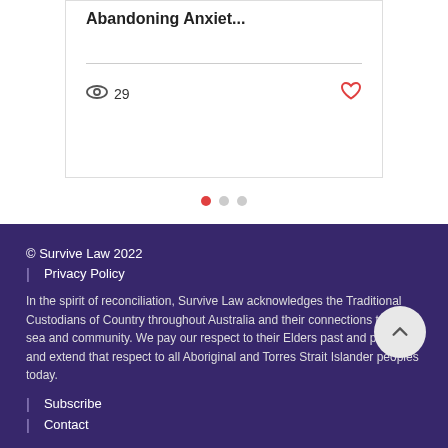Abandoning Anxiet...
29
[Figure (infographic): Carousel navigation dots: one red filled dot and two grey dots]
© Survive Law 2022
| Privacy Policy
In the spirit of reconciliation, Survive Law acknowledges the Traditional Custodians of Country throughout Australia and their connections to land, sea and community. We pay our respect to their Elders past and present and extend that respect to all Aboriginal and Torres Strait Islander peoples today.
| Subscribe
| Contact